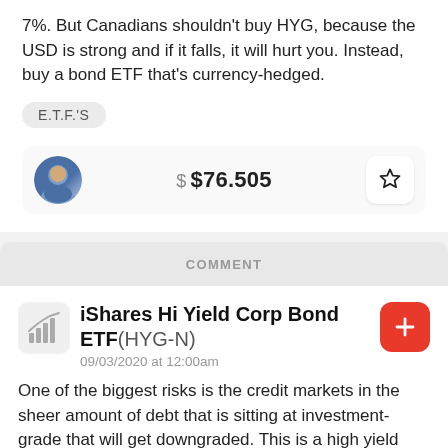7%. But Canadians shouldn't buy HYG, because the USD is strong and if it falls, it will hurt you. Instead, buy a bond ETF that's currency-hedged.
E.T.F.'S
$ $76.505
COMMENT
iShares Hi Yield Corp Bond ETF(HYG-N)
09/03/2020 at 12:00am
One of the biggest risks is the credit markets in the sheer amount of debt that is sitting at investment-grade that will get downgraded. This is a high yield